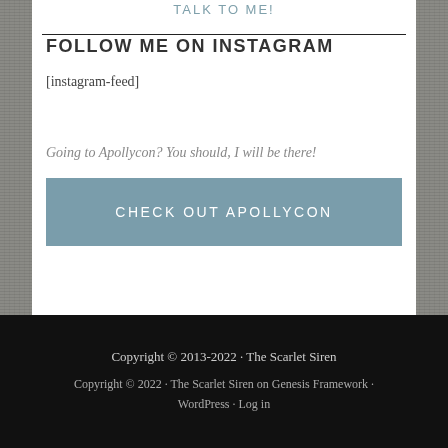TALK TO ME!
FOLLOW ME ON INSTAGRAM
[instagram-feed]
Going to Apollycon? You should, I will be there!
CHECK OUT APOLLYCON
Copyright © 2013-2022 · The Scarlet Siren
Copyright © 2022 · The Scarlet Siren on Genesis Framework · WordPress · Log in